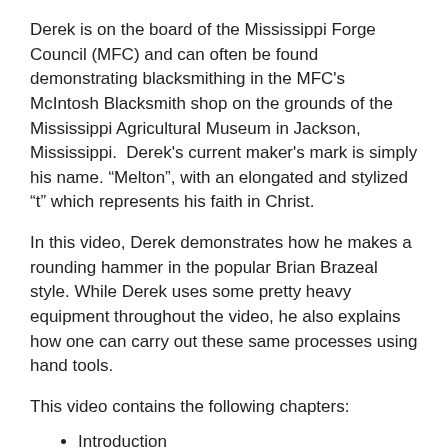Derek is on the board of the Mississippi Forge Council (MFC) and can often be found demonstrating blacksmithing in the MFC's McIntosh Blacksmith shop on the grounds of the Mississippi Agricultural Museum in Jackson, Mississippi.  Derek's current maker's mark is simply his name. “Melton”, with an elongated and stylized “t” which represents his faith in Christ.
In this video, Derek demonstrates how he makes a rounding hammer in the popular Brian Brazeal style. While Derek uses some pretty heavy equipment throughout the video, he also explains how one can carry out these same processes using hand tools.
This video contains the following chapters:
Introduction
Shaping the Billet
Punching and Drifting the Eye
Troughing and Cheeking
Cleaning and Heat Treating